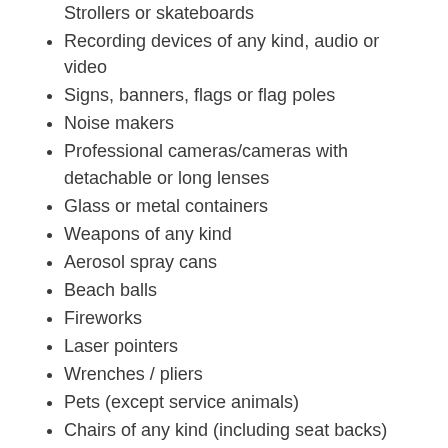Strollers or skateboards (truncated/partial at top)
Recording devices of any kind, audio or video
Signs, banners, flags or flag poles
Noise makers
Professional cameras/cameras with detachable or long lenses
Glass or metal containers
Weapons of any kind
Aerosol spray cans
Beach balls
Fireworks
Laser pointers
Wrenches / pliers
Pets (except service animals)
Chairs of any kind (including seat backs)
Food or alcohol
The following items are allowed:
Small purses, but they will be searched
Cell phones are permitted but must be... (truncated)